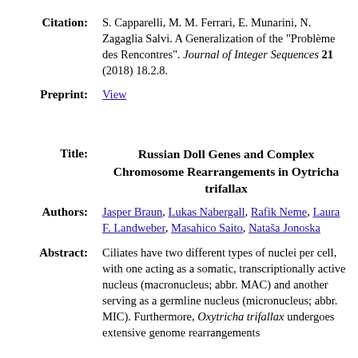Citation: S. Capparelli, M. M. Ferrari, E. Munarini, N. Zagaglia Salvi. A Generalization of the "Problème des Rencontres". Journal of Integer Sequences 21 (2018) 18.2.8.
Preprint: View
Russian Doll Genes and Complex Chromosome Rearrangements in Oytricha trifallax
Authors: Jasper Braun, Lukas Nabergall, Rafik Neme, Laura F. Landweber, Masahico Saito, Nataša Jonoska
Abstract: Ciliates have two different types of nuclei per cell, with one acting as a somatic, transcriptionally active nucleus (macronucleus; abbr. MAC) and another serving as a germline nucleus (micronucleus; abbr. MIC). Furthermore, Oxytricha trifallax undergoes extensive genome rearrangements